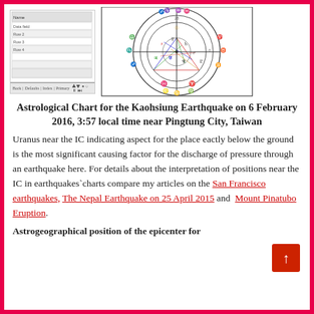[Figure (other): Left: Software UI panel screenshot showing a data entry or table interface with toolbar. Right: Astrological natal chart wheel with zodiac signs, planetary symbols, aspect lines in various colors (red, green, blue, yellow), for Kaohsiung Earthquake on 6 February 2016.]
Astrological Chart for the Kaohsiung Earthquake on 6 February 2016, 3:57 local time near Pingtung City, Taiwan
Uranus near the IC indicating aspect for the place eactly below the ground is the most significant causing factor for the discharge of pressure through an earthquake here. For details about the interpretation of positions near the IC in earthquakes`charts compare my articles on the San Francisco earthquakes, The Nepal Earthquake on 25 April 2015 and  Mount Pinatubo Eruption.
Astrogeographical position of the epicenter for